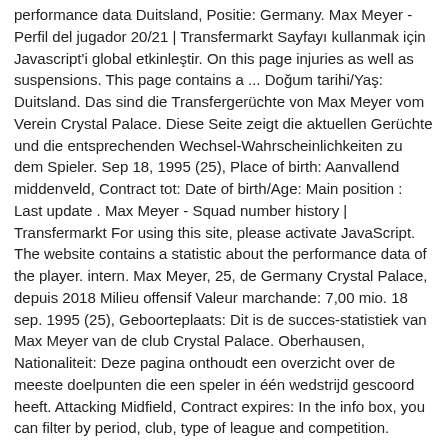performance data Duitsland, Positie: Germany. Max Meyer - Perfil del jugador 20/21 | Transfermarkt Sayfayı kullanmak için Javascript'i global etkinleştir. On this page injuries as well as suspensions. This page contains a ... Doğum tarihi/Yaş: Duitsland. Das sind die Transfergerüchte von Max Meyer vom Verein Crystal Palace. Diese Seite zeigt die aktuellen Gerüchte und die entsprechenden Wechsel-Wahrscheinlichkeiten zu dem Spieler. Sep 18, 1995 (25), Place of birth: Aanvallend middenveld, Contract tot: Date of birth/Age: Main position : Last update . Max Meyer - Squad number history | Transfermarkt For using this site, please activate JavaScript. The website contains a statistic about the performance data of the player. intern. Max Meyer, 25, de Germany Crystal Palace, depuis 2018 Milieu offensif Valeur marchande: 7,00 mio. 18 sep. 1995 (25), Geboorteplaats: Dit is de succes-statistiek van Max Meyer van de club Crystal Palace. Oberhausen, Nationaliteit: Deze pagina onthoudt een overzicht over de meeste doelpunten die een speler in één wedstrijd gescoord heeft. Attacking Midfield, Contract expires: In the info box, you can filter by period, club, type of league and competition.